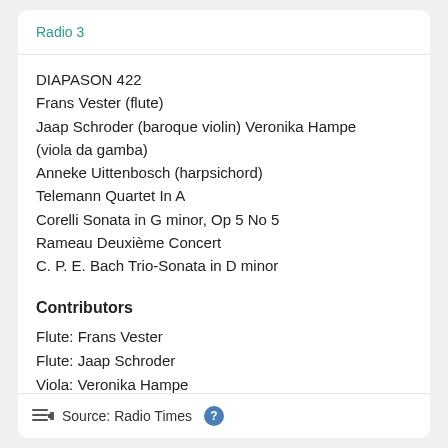Radio 3
DIAPASON 422
Frans Vester (flute)
Jaap Schroder (baroque violin) Veronika Hampe (viola da gamba)
Anneke Uittenbosch (harpsichord)
Telemann Quartet In A
Corelli Sonata in G minor, Op 5 No 5
Rameau Deuxième Concert
C. P. E. Bach Trio-Sonata in D minor
Contributors
Flute:  Frans Vester
Flute:  Jaap Schroder
Viola:  Veronika Hampe
Source: Radio Times